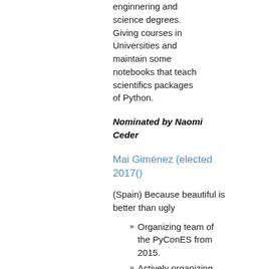enginnering and science degrees. Giving courses in Universities and maintain some notebooks that teach scientifics packages of Python.
Nominated by Naomi Ceder
Mai Giménez (elected 2017()
(Spain) Because beautiful is better than ugly
Organizing team of the PyConES from 2015.
Actively organizing